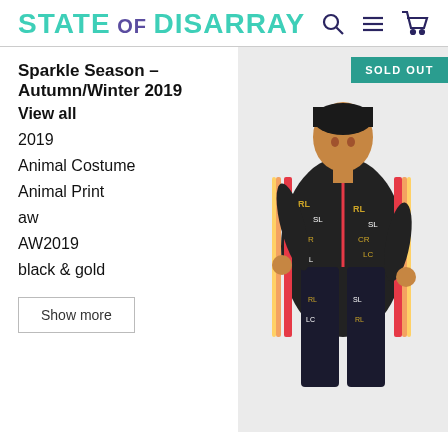STATE OF DISARRAY
Sparkle Season - Autumn/Winter 2019
View all
2019
Animal Costume
Animal Print
aw
AW2019
black & gold
[Figure (photo): Woman wearing a black tracksuit with multicolored letter prints and red zipper details, with a SOLD OUT badge overlay]
Show more